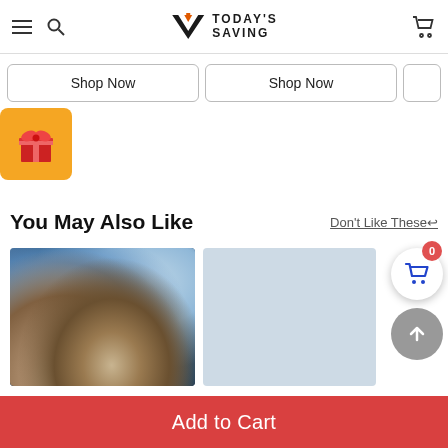Today's Saving - e-commerce site header with hamburger menu, search icon, logo, and cart icon
Shop Now
Shop Now
[Figure (illustration): Gift box icon on orange/yellow square background]
You May Also Like
Don't Like These↩
[Figure (photo): Two wolves in a snowy mountain forest scene with blue tones]
[Figure (photo): Partially visible product image with light blue/gray tones]
Add to Cart